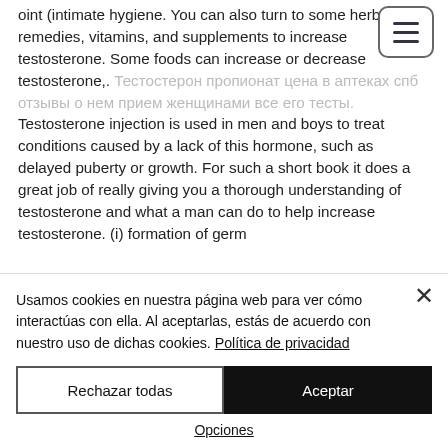oint (intimate hygiene. You can also turn to some herbal remedies, vitamins, and supplements to increase testosterone. Some foods can increase or decrease testosterone,. [gray text in non-Latin script]. Testosterone injection is used in men and boys to treat conditions caused by a lack of this hormone, such as delayed puberty or growth. For such a short book it does a great job of really giving you a thorough understanding of testosterone and what a man can do to help increase testosterone. (i) formation of germ
Usamos cookies en nuestra página web para ver cómo interactúas con ella. Al aceptarlas, estás de acuerdo con nuestro uso de dichas cookies. Política de privacidad
Rechazar todas
Aceptar
Opciones